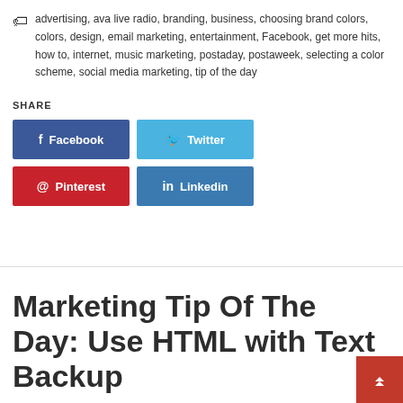advertising, ava live radio, branding, business, choosing brand colors, colors, design, email marketing, entertainment, Facebook, get more hits, how to, internet, music marketing, postaday, postaweek, selecting a color scheme, social media marketing, tip of the day
SHARE
[Figure (other): Four social share buttons: Facebook (dark blue), Twitter (light blue), Pinterest (red), Linkedin (blue)]
Marketing Tip Of The Day: Use HTML with Text Backup